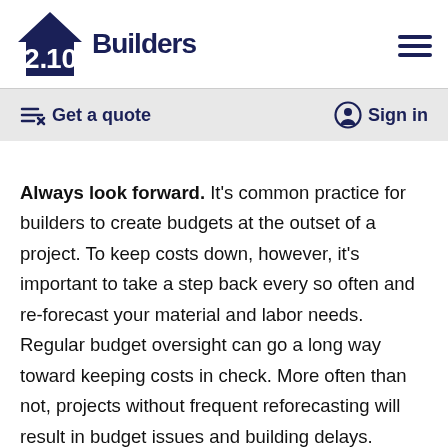[Figure (logo): 2.10 Builders logo with dark blue house icon and text]
Get a quote   Sign in
Always look forward. It’s common practice for builders to create budgets at the outset of a project. To keep costs down, however, it’s important to take a step back every so often and re-forecast your material and labor needs. Regular budget oversight can go a long way toward keeping costs in check. More often than not, projects without frequent reforecasting will result in budget issues and building delays. Builders should always be updating and managing budgets, even when projects are running smoothly. If you aren’t continuously forecasting your budget based on shifting circumstances, you are inviting trouble.